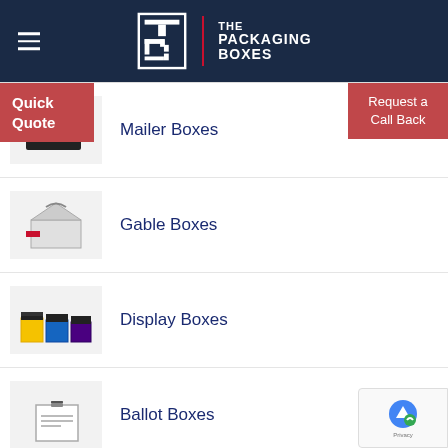[Figure (logo): The Packaging Boxes logo — dark navy header with hamburger menu, TPB monogram icon and text THE PACKAGING BOXES]
Mailer Boxes
Gable Boxes
Display Boxes
Ballot Boxes
Quick Quote
Request a Call Back
How can I help you?
RECENT POST